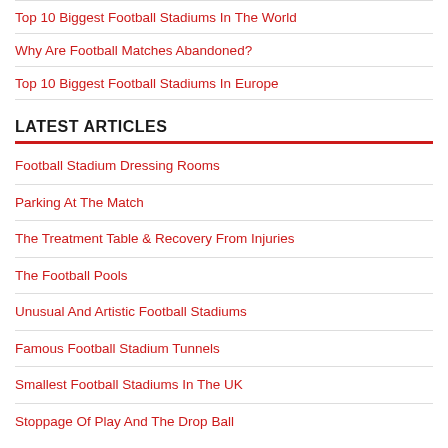Top 10 Biggest Football Stadiums In The World
Why Are Football Matches Abandoned?
Top 10 Biggest Football Stadiums In Europe
LATEST ARTICLES
Football Stadium Dressing Rooms
Parking At The Match
The Treatment Table & Recovery From Injuries
The Football Pools
Unusual And Artistic Football Stadiums
Famous Football Stadium Tunnels
Smallest Football Stadiums In The UK
Stoppage Of Play And The Drop Ball